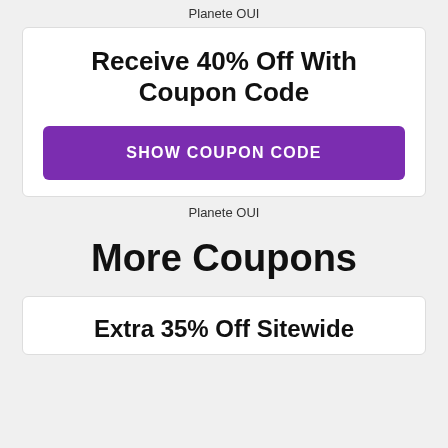Planete OUI
Receive 40% Off With Coupon Code
SHOW COUPON CODE
Planete OUI
More Coupons
Extra 35% Off Sitewide